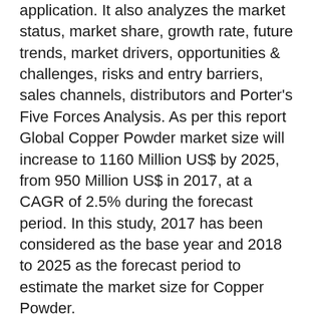application. It also analyzes the market status, market share, growth rate, future trends, market drivers, opportunities & challenges, risks and entry barriers, sales channels, distributors and Porter's Five Forces Analysis. As per this report Global Copper Powder market size will increase to 1160 Million US$ by 2025, from 950 Million US$ in 2017, at a CAGR of 2.5% during the forecast period. In this study, 2017 has been considered as the base year and 2018 to 2025 as the forecast period to estimate the market size for Copper Powder.
Access More Details about this Report at: https://www.themarketreports.com/report/global-copper-powder-market-insights-forecast-to-2025
Copper Powder Breakdown Data by Type